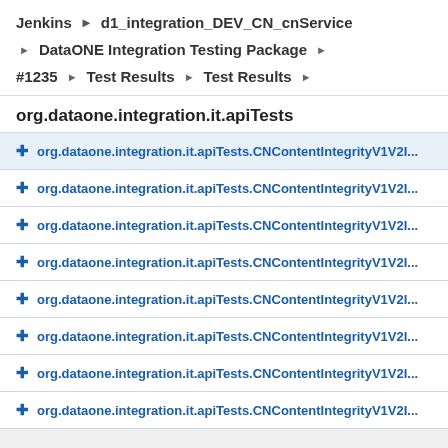Jenkins ▶ d1_integration_DEV_CN_cnService
▶ DataONE Integration Testing Package ▶
#1235 ▶ Test Results ▶ Test Results ▶
org.dataone.integration.it.apiTests
+ org.dataone.integration.it.apiTests.CNContentIntegrityV1V2I...
+ org.dataone.integration.it.apiTests.CNContentIntegrityV1V2I...
+ org.dataone.integration.it.apiTests.CNContentIntegrityV1V2I...
+ org.dataone.integration.it.apiTests.CNContentIntegrityV1V2I...
+ org.dataone.integration.it.apiTests.CNContentIntegrityV1V2I...
+ org.dataone.integration.it.apiTests.CNContentIntegrityV1V2I...
+ org.dataone.integration.it.apiTests.CNContentIntegrityV1V2I...
+ org.dataone.integration.it.apiTests.CNContentIntegrityV1V2I...